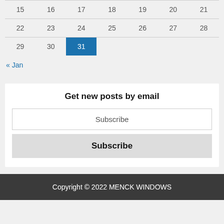| 15 | 16 | 17 | 18 | 19 | 20 | 21 |
| 22 | 23 | 24 | 25 | 26 | 27 | 28 |
| 29 | 30 | 31 |  |  |  |  |
« Jan
Get new posts by email
Subscribe
Subscribe
Copyright © 2022 MENCK WINDOWS